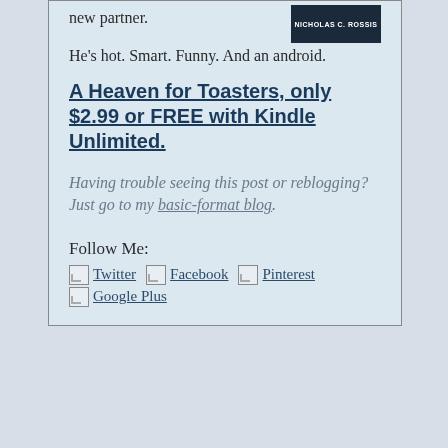new partner.
He's hot. Smart. Funny. And an android.
A Heaven for Toasters, only $2.99 or FREE with Kindle Unlimited.
Having trouble seeing this post or reblogging? Just go to my basic-format blog.
Follow Me:
[Figure (illustration): Broken image placeholders for social media icons: Twitter, Facebook, Pinterest, Google Plus]
Twitter Facebook Pinterest Google Plus